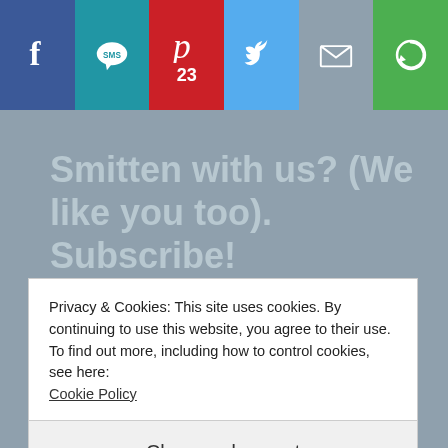[Figure (screenshot): Social sharing bar with icons for Facebook, SMS, Pinterest (with count 23), Twitter, Email, and a circular arrow/refresh icon on colored backgrounds]
[Figure (screenshot): Accessibility icon (wheelchair symbol) on blue background in top right]
Smitten with us? (We like you too). Subscribe!
Sign up to get our latest blog posts, tools and resources.
EMAIL
Privacy & Cookies: This site uses cookies. By continuing to use this website, you agree to their use.
To find out more, including how to control cookies, see here:
Cookie Policy
Close and accept